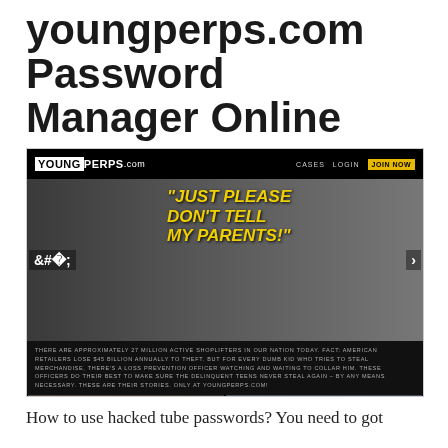youngperps.com Password Manager Online
[Figure (screenshot): Screenshot of youngperps.com website showing logo, navigation with CASES, LOGIN, JOIN NOW links, banner with text "JUST PLEASE DON'T TELL MY PARENTS!", site description text about shoplifters, and thumbnail images at bottom]
How to use hacked tube passwords? You need to got